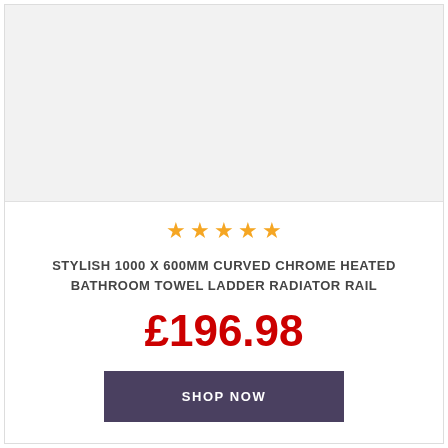[Figure (photo): Product image area — light grey placeholder background for a towel ladder radiator rail product photo]
[Figure (other): Five orange star rating icons]
STYLISH 1000 X 600MM CURVED CHROME HEATED BATHROOM TOWEL LADDER RADIATOR RAIL
£196.98
SHOP NOW